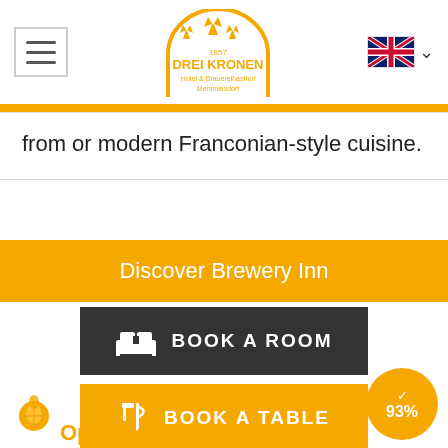[Figure (screenshot): Drei Kronen Hotel & Brauereibasthof Memmelsdorf website header with hamburger menu, logo, and UK flag language selector]
from or modern Franconian-style cuisine.
Discover Brewery Inn
BOOK A ROOM
BOOK A TABLE
93%
Opening hours